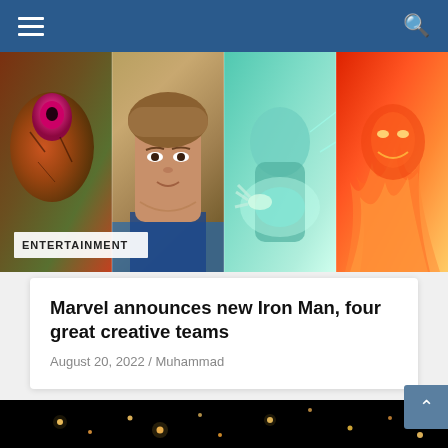[Figure (illustration): Comic book style illustration showing four vertical panels: a red alien creature with a pink eye, a male superhero with brown hair and blue costume, a figure with teal/green energy, and a red fiery figure. Label reads ENTERTAINMENT.]
Marvel announces new Iron Man, four great creative teams
August 20, 2022 / Muhammad